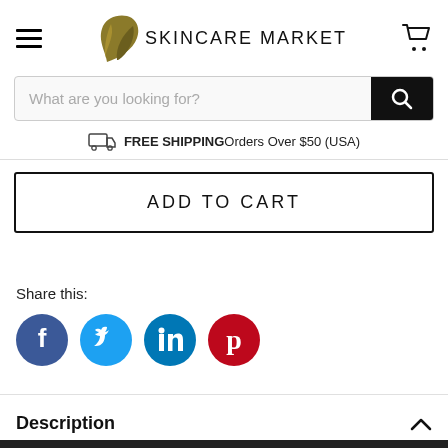SKINCARE MARKET
What are you looking for?
FREE SHIPPING Orders Over $50 (USA)
ADD TO CART
Share this:
[Figure (illustration): Social media share icons: Facebook, Twitter, LinkedIn, Pinterest]
Description